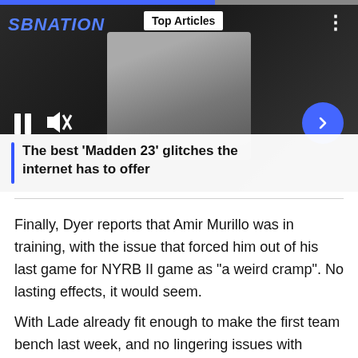[Figure (screenshot): SBNation video player showing football players, with Top Articles badge, pause and mute controls, blue arrow button, and caption overlay reading 'The best Madden 23 glitches the internet has to offer']
The best ‘Madden 23’ glitches the internet has to offer
Finally, Dyer reports that Amir Murillo was in training, with the issue that forced him out of his last game for NYRB II game as "a weird cramp". No lasting effects, it would seem.
With Lade already fit enough to make the first team bench last week, and no lingering issues with